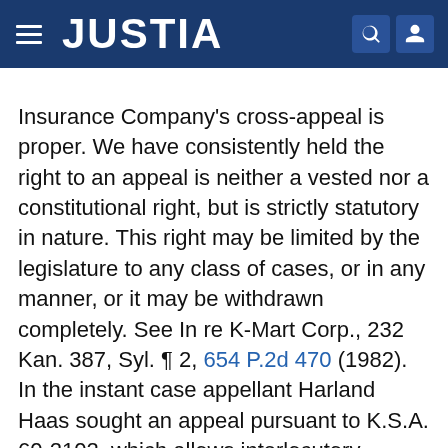JUSTIA
Insurance Company's cross-appeal is proper. We have consistently held the right to an appeal is neither a vested nor a constitutional right, but is strictly statutory in nature. This right may be limited by the legislature to any class of cases, or in any manner, or it may be withdrawn completely. See In re K-Mart Corp., 232 Kan. 387, Syl. ¶ 2, 654 P.2d 470 (1982). In the instant case appellant Harland Haas sought an appeal pursuant to K.S.A. 60-2102, which allows interlocutory appeals. Haas properly fulfilled the requirements of the statute which requires the party seeking the appeal to obtain a statement in writing from the district court judge that the order from which appeal is sought involves a controlling question of law in the case as to which there is substantial ground for difference of opinion and that an immediate appeal from the order may materially advance the ultimate termination of the litigation.